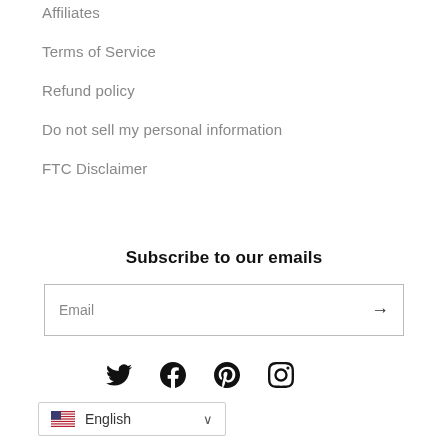Affiliates
Terms of Service
Refund policy
Do not sell my personal information
FTC Disclaimer
Subscribe to our emails
Email
[Figure (screenshot): Social media icons: Twitter, Facebook, Pinterest, Instagram]
English
[Figure (screenshot): WhatsApp chat button with badge showing 1 unread message]